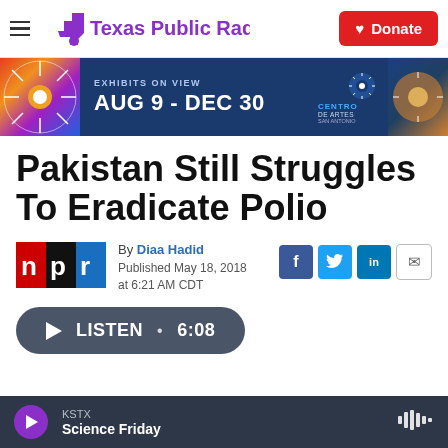Texas Public Radio | Donate
[Figure (other): Advertisement banner: EXHIBITS ON VIEW AUG 9 - DEC 30, Centro de Artes San Antonio]
Pakistan Still Struggles To Eradicate Polio
By Diaa Hadid
Published May 18, 2018 at 6:21 AM CDT
KSTX | Science Friday